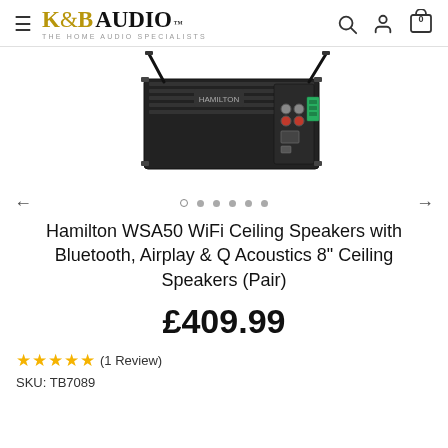K&B AUDIO THE HOME AUDIO SPECIALISTS
[Figure (photo): Hamilton WSA50 WiFi amplifier/receiver unit shown from rear, black metal casing with antenna, RCA connectors, ethernet port, green terminal block, and USB port]
Hamilton WSA50 WiFi Ceiling Speakers with Bluetooth, Airplay & Q Acoustics 8" Ceiling Speakers (Pair)
£409.99
★★★★★ (1 Review)
SKU: TB7089